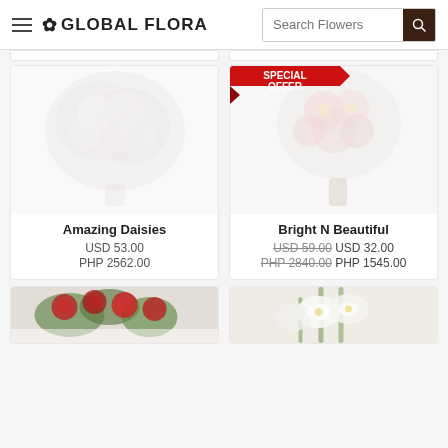Global Flora — Search Flowers
[Figure (photo): Amazing Daisies — white daisy bouquet, faded/light]
Amazing Daisies
USD 53.00
PHP 2562.00
[Figure (photo): Bright N Beautiful — colorful flower bouquet with Special Offer ribbon badge]
Bright N Beautiful
USD 59.00 USD 32.00
PHP 2840.00 PHP 1545.00
[Figure (photo): Partial product image bottom left — red roses arrangement]
[Figure (photo): Partial product image bottom right — white lilies arrangement]